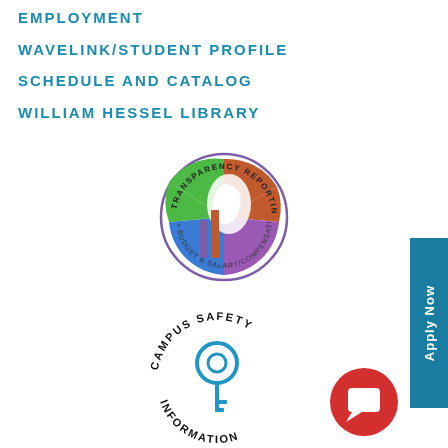EMPLOYMENT
WAVELINK/STUDENT PROFILE
SCHEDULE AND CATALOG
WILLIAM HESSEL LIBRARY
[Figure (logo): Transparency Reporting Budget & Salary/Compensation circular logo with Michigan map and bar chart]
[Figure (logo): Campus Safety Information circular logo with key icon]
[Figure (other): Red circle chat/message bubble icon]
Apply Now